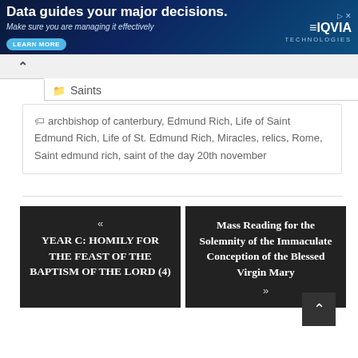[Figure (screenshot): IQVIA Technologies advertisement banner with dark blue gradient background. Text: 'Data guides your major decisions. Make sure you are managing it effectively' with 'LEARN MORE' button and IQVIA TECHNOLOGIES logo.]
Saints
archbishop of canterbury, Edmund Rich, Life of Saint Edmund Rich, Life of St. Edmund Rich, Miracles, relics, Rome, Saint edmund rich, saint of the day 20th november
« YEAR C: HOMILY FOR THE FEAST OF THE BAPTISM OF THE LORD (4)
Mass Reading for the Solemnity of the Immaculate Conception of the Blessed Virgin Mary »